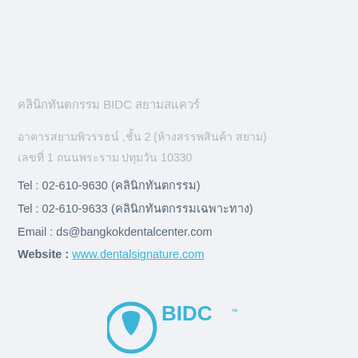คลินิกทันตกรรม BIDC สยามสแควร์
อาคารสยามพิวรรธน์ ,ชั้น 2 (ห้างสรรพสินค้า สยาม) เลขที่ 1 ถนนพระราม ปทุมวัน 10330
Tel : 02-610-9630 (คลินิกทันตกรรม)
Tel : 02-610-9633 (คลินิกทันตกรรมเฉพาะทาง)
Email : ds@bangkokdentalcenter.com
Website : www.dentalsignature.com
[Figure (logo): BIDC Bangkok International Dental Center logo at bottom of page]